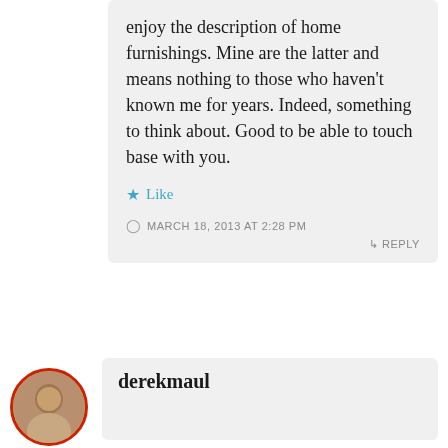enjoy the description of home furnishings. Mine are the latter and means nothing to those who haven't known me for years. Indeed, something to think about. Good to be able to touch base with you.
★ Like
MARCH 18, 2013 AT 2:28 PM
↳ REPLY
derekmaul